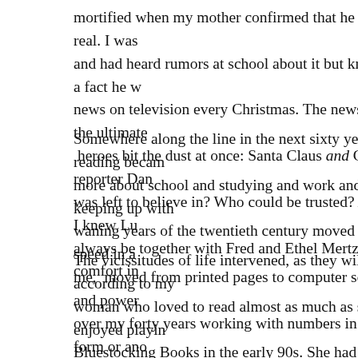mortified when my mother confirmed that he wasn't real. I was and had heard rumors at school about it but knew for a fact he w news on television every Christmas. The news was the ultimate  heroes bit the dust at once: Santa Claus and CBS reporter Dan  was left to believe in? Who could be trusted? At least I knew Lu always be together with Fred and Ethel Mertz. I took comfort in
Somewhere along the line in the next sixty years reading becam more about school and studying and work and keeping up with  waning years of the twentieth century moved at warp speed in a me,  moved from printed pages to computer screens and power  over my forty years working with numbers in some form or ano When I came home at night, the last thing I wanted to do was re
The vicissitudes of life intervened, as they will according to my  woman who loved to read almost as much as she enjoyed playin Bluestocking Books in the early 90s. She had a wonderful femin Street in the Vista in downtown Columbia before the Vista was  a gathering place for the fledgling LGBT community. My inter